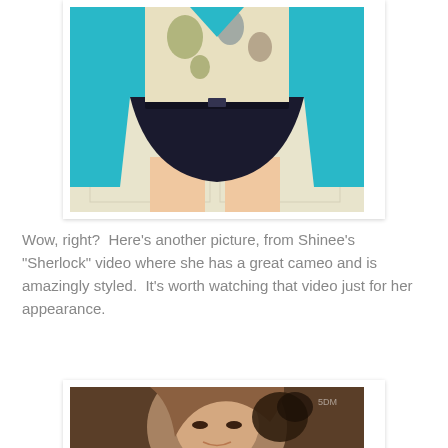[Figure (photo): A young woman wearing a teal/turquoise long cardigan over a floral top and a dark navy mini skirt, standing against a cream/white paneled wall backdrop. The photo is cropped from thighs upward showing the outfit.]
Wow, right?  Here's another picture, from Shinee's "Sherlock" video where she has a great cameo and is amazingly styled.  It's worth watching that video just for her appearance.
[Figure (photo): A young Asian woman with light brown side-swept hair, wearing a dark floral hair accessory, smiling softly. Sepia/warm-toned portrait style photo. Watermark '5DM' visible in upper right corner.]